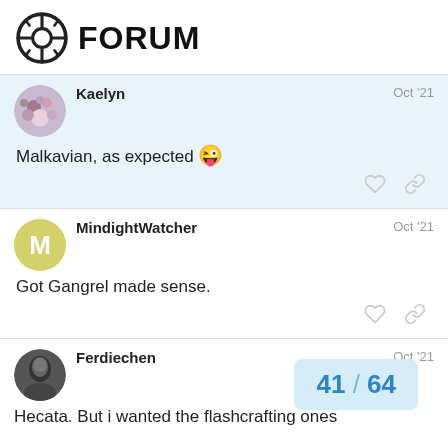FORUM
Kaelyn   Oct '21
Malkavian, as expected 😜
MindightWatcher   Oct '21
Got Gangrel made sense.
Ferdiechen   Oct '21
Hecata. But i wanted the flashcrafting ones
41 / 64